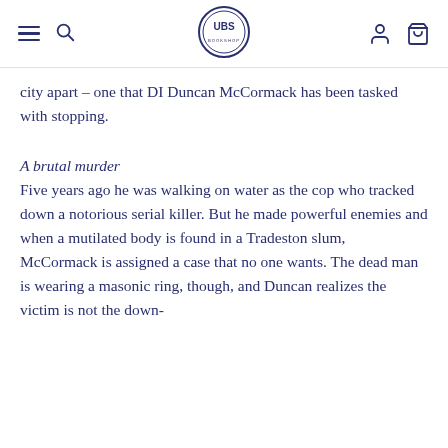UBS [logo with hamburger menu, search, account, and bag icons]
city apart – one that DI Duncan McCormack has been tasked with stopping.
A brutal murder
Five years ago he was walking on water as the cop who tracked down a notorious serial killer. But he made powerful enemies and when a mutilated body is found in a Tradeston slum,
McCormack is assigned a case that no one wants. The dead man is wearing a masonic ring, though, and Duncan realizes the victim is not the down-